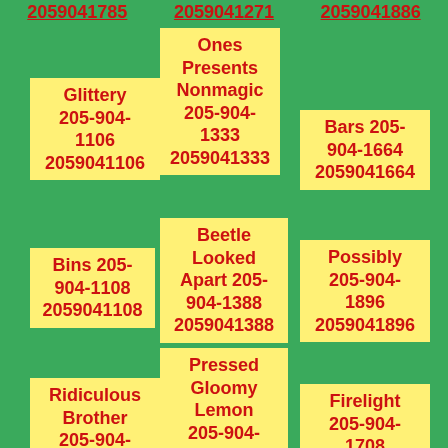2059041785  2059041271  2059041886
Glittery 205-904-1106 2059041106
Ones Presents Nonmagic 205-904-1333 2059041333
Bars 205-904-1664 2059041664
Bins 205-904-1108 2059041108
Beetle Looked Apart 205-904-1388 2059041388
Possibly 205-904-1896 2059041896
Ridiculous Brother 205-904-1281 2059041281
Pressed Gloomy Lemon 205-904-1777 2059041777
Firelight 205-904-1708 2059041708